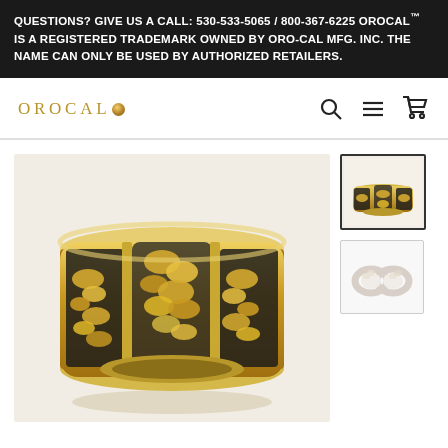QUESTIONS? GIVE US A CALL: 530-533-5065 / 800-367-6225 OROCAL™ IS A REGISTERED TRADEMARK OWNED BY ORO-CAL MFG. INC. THE NAME CAN ONLY BE USED BY AUTHORIZED RETAILERS.
[Figure (logo): OROCAL logo with gold nugget dot, navigation bar with search, menu, and cart icons]
[Figure (photo): Main product photo: gold nugget ring with black enamel inlay, yellow gold band with textured natural gold nugget pattern across the top, close-up angle view on white background]
[Figure (photo): Thumbnail 1: Same gold nugget ring shown from a different angle, selected state with dark border]
[Figure (photo): Thumbnail 2: White/silver version or plain view of rings on white background]